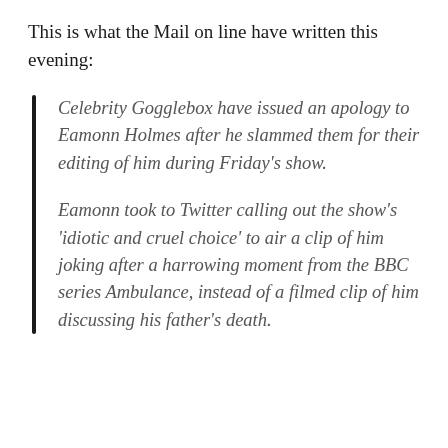This is what the Mail on line have written this evening:
Celebrity Gogglebox have issued an apology to Eamonn Holmes after he slammed them for their editing of him during Friday's show.
Eamonn took to Twitter calling out the show's 'idiotic and cruel choice' to air a clip of him joking after a harrowing moment from the BBC series Ambulance, instead of a filmed clip of him discussing his father's death.